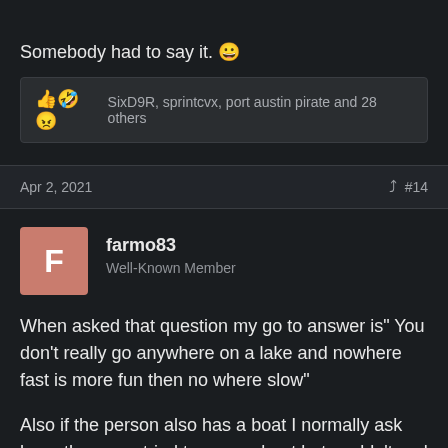Somebody had to say it. 😀
👍 🤣 😠 SixD9R, sprintcvx, port austin pirate and 28 others
Apr 2, 2021  #14
farmo83
Well-Known Member
When asked that question my go to answer is" You don't really go anywhere on a lake and nowhere fast is more fun then no where slow"
Also if the person also has a boat I normally ask have they ever tried to pass a boat but couldn't and the